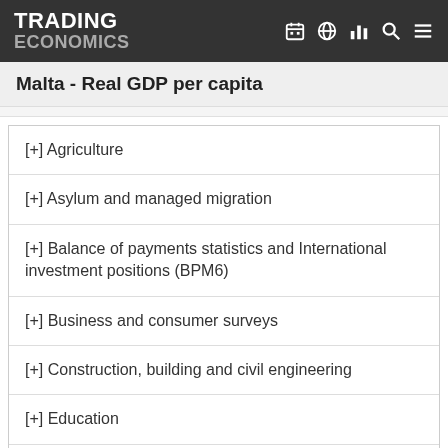TRADING ECONOMICS
Malta - Real GDP per capita
[+] Agriculture
[+] Asylum and managed migration
[+] Balance of payments statistics and International investment positions (BPM6)
[+] Business and consumer surveys
[+] Construction, building and civil engineering
[+] Education
[+] Electronic solutions